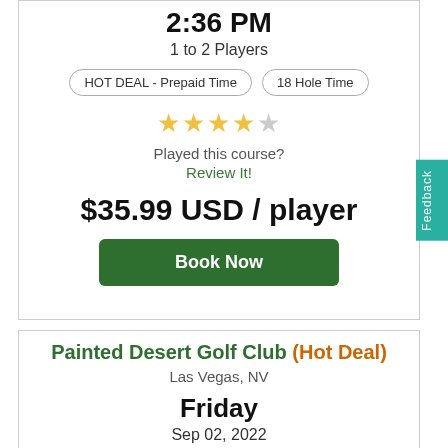2:36 PM (partial, top cut off)
1 to 2 Players
HOT DEAL - Prepaid Time | 18 Hole Time
★★★★☆
Played this course?
Review It!
$35.99 USD / player
Book Now
Painted Desert Golf Club (Hot Deal)
Las Vegas, NV
Friday
Sep 02, 2022
2:36 PM
1 to 4 Players